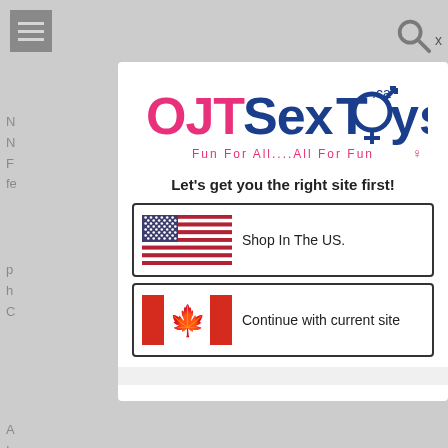[Figure (screenshot): Website popup modal for OJTSexToys.ca showing a site selection dialog with logo, heading 'Let’s get you the right site first!', a US flag button 'Shop In The US.' and a Canadian flag button 'Continue with current site'. Background shows a dimmed webpage with hamburger menu and search icons.]